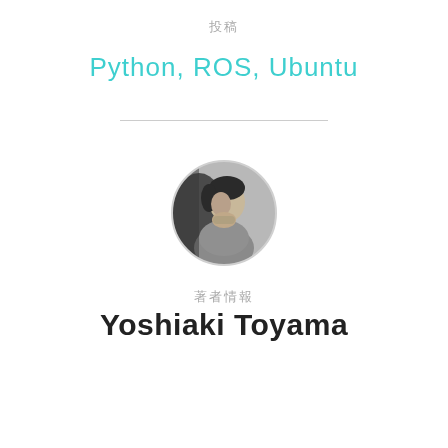投稿
Python, ROS, Ubuntu
[Figure (photo): Circular black and white profile photo of a person in a thoughtful pose]
著者情報
Yoshiaki Toyama